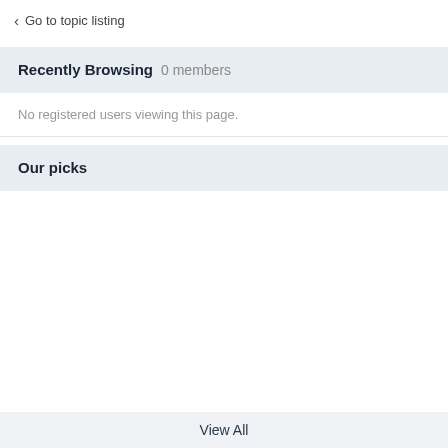< Go to topic listing
Recently Browsing 0 members
No registered users viewing this page.
Our picks
View All